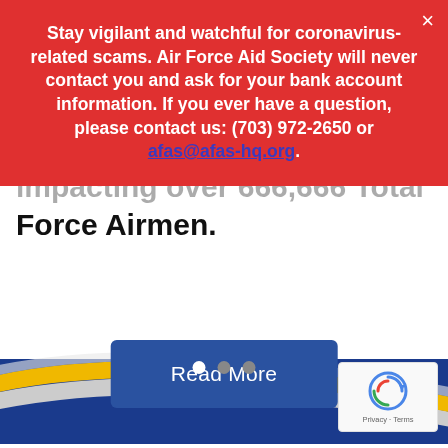Stay vigilant and watchful for coronavirus-related scams. Air Force Aid Society will never contact you and ask for your bank account information. If you ever have a question, please contact us: (703) 972-2650 or afas@afas-hq.org.
impacting over 666,666 Total Force Airmen.
[Figure (other): Read More button - blue rectangular button with white text]
[Figure (illustration): Decorative wave graphic at the bottom of the page with yellow, gray, and blue curved bands]
[Figure (logo): Google reCAPTCHA badge with Privacy and Terms links]